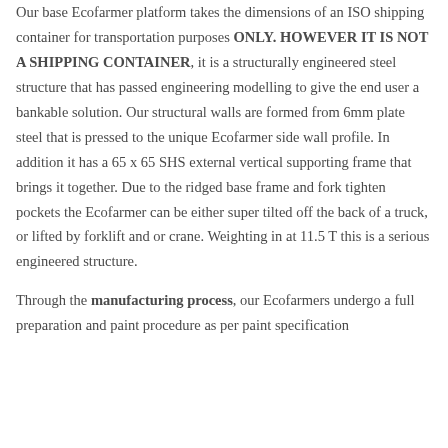Our base Ecofarmer platform takes the dimensions of an ISO shipping container for transportation purposes ONLY. HOWEVER IT IS NOT A SHIPPING CONTAINER, it is a structurally engineered steel structure that has passed engineering modelling to give the end user a bankable solution. Our structural walls are formed from 6mm plate steel that is pressed to the unique Ecofarmer side wall profile. In addition it has a 65 x 65 SHS external vertical supporting frame that brings it together. Due to the ridged base frame and fork tighten pockets the Ecofarmer can be either super tilted off the back of a truck, or lifted by forklift and or crane. Weighting in at 11.5 T this is a serious engineered structure.
Through the manufacturing process, our Ecofarmers undergo a full preparation and paint procedure as per paint specification